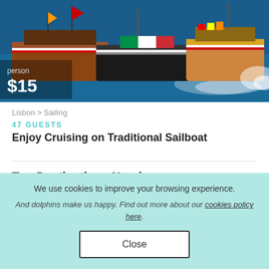[Figure (photo): Colorful traditional sailboats on water, Lisbon sailing experience photo]
person
$15
Lisbon > Sailing
47 GUESTS
Enjoy Cruising on Traditional Sailboat
Top Destinations Nearby
We use cookies to improve your browsing experience.
And dolphins make us happy. Find out more about our cookies policy here.
Close